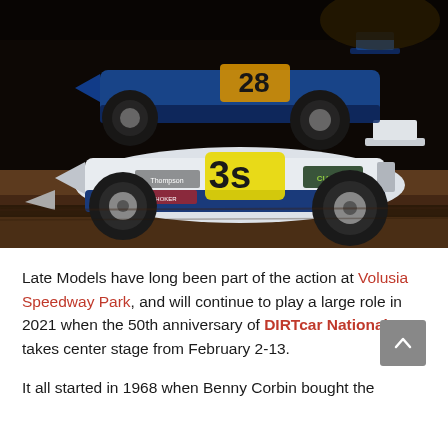[Figure (photo): Two dirt late model race cars on a dirt track at night. The foreground car is white and blue with number 3s and sponsor logos including Cullen and Thompson. A blue car numbered 28 is visible behind it. The cars are racing on a dirt oval track.]
Late Models have long been part of the action at Volusia Speedway Park, and will continue to play a large role in 2021 when the 50th anniversary of DIRTcar Nationals takes center stage from February 2-13.
It all started in 1968 when Benny Corbin bought the